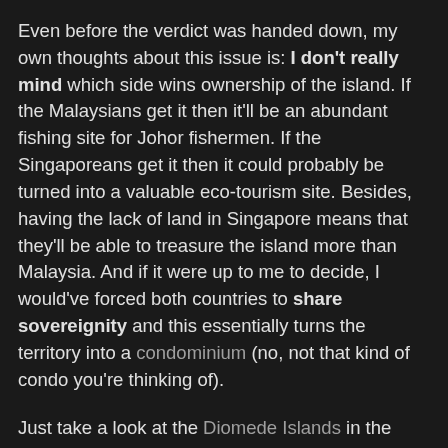Even before the verdict was handed down, my own thoughts about this issue is: I don't really mind which side wins ownership of the island. If the Malaysians get it then it'll be an abundant fishing site for Johor fishermen. If the Singaporeans get it then it could probably be turned into a valuable eco-tourism site. Besides, having the lack of land in Singapore means that they'll be able to treasure the island more than Malaysia. And if it were up to me to decide, I would've forced both countries to share sovereignity and this essentially turns the territory into a condominium (no, not that kind of condo you're thinking of).
Just take a look at the Diomede Islands in the Bering Straits which is split down the middle between Russia and America. Who says this is a loss for Malaysia? This is not a life-or-death situation and neither is our country in a state of war. Trust me, I agree with Rais Yatim when he says this judgement is a win-win situation for both sides. If Malaysia is still unsatisfied then they ought to do something like build an installation of their own on Middle Rocks. There are seriously other pressing matters for both Malaysia and